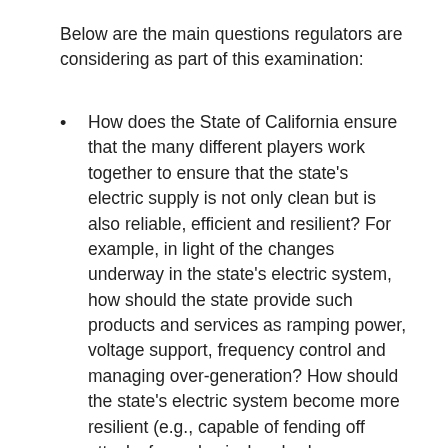Below are the main questions regulators are considering as part of this examination:
How does the State of California ensure that the many different players work together to ensure that the state's electric supply is not only clean but is also reliable, efficient and resilient? For example, in light of the changes underway in the state's electric system, how should the state provide such products and services as ramping power, voltage support, frequency control and managing over-generation? How should the state's electric system become more resilient (e.g., capable of fending off attacks from physical and cyber